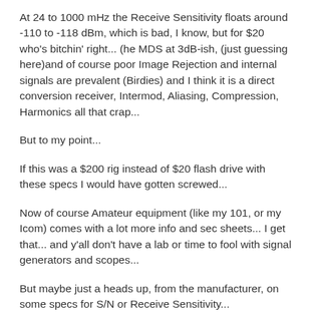At 24 to 1000 mHz the Receive Sensitivity floats around -110 to -118 dBm, which is bad, I know, but for $20 who's bitchin' right... (he MDS at 3dB-ish, (just guessing here)and of course poor Image Rejection and internal signals are prevalent (Birdies) and I think it is a direct conversion receiver, Intermod, Aliasing, Compression, Harmonics all that crap...
But to my point...
If this was a $200 rig instead of $20 flash drive with these specs I would have gotten screwed...
Now of course Amateur equipment (like my 101, or my Icom) comes with a lot more info and sec sheets... I get that... and y'all don't have a lab or time to fool with signal generators and scopes...
But maybe just a heads up, from the manufacturer, on some specs for S/N or Receive Sensitivity...